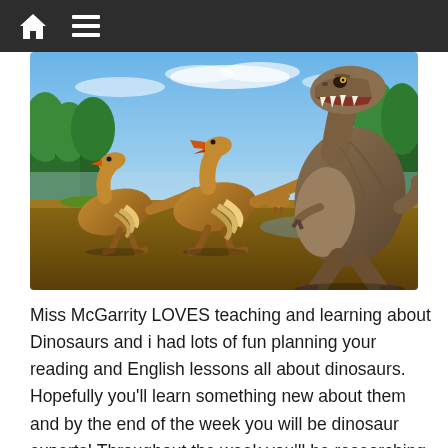[Navigation bar with home and menu icons]
[Figure (illustration): Digital illustration of dinosaurs: a large T-Rex with open mouth on the right, and two smaller feathered dinosaurs (ornithomimosaurs) running away on the left, set in a prehistoric landscape with trees and sky.]
Miss McGarrity LOVES teaching and learning about Dinosaurs and i had lots of fun planning your reading and English lessons all about dinosaurs. Hopefully you'll learn something new about them and by the end of the week you will be dinosaur experts! Throughout the week you'll be researching, writing captions, improving captions and then writing your own facts about a dinosaur of your choice to create a poster. This is all non-fiction. In